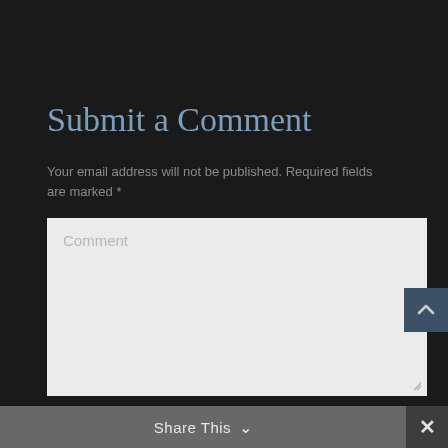Submit a Comment
Your email address will not be published. Required fields are marked *
[Figure (screenshot): Comment text area input field with placeholder text 'Comment', light gray background]
[Figure (screenshot): Name input field with placeholder text 'Name *', light gray background]
[Figure (screenshot): Scroll-to-top button with upward chevron arrow on dark blue-gray background, positioned right side]
[Figure (screenshot): Share This bar at bottom with downward chevron and X close button]